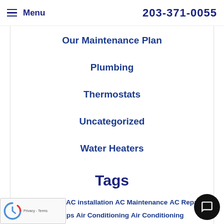Menu  203-371-0055
Our Maintenance Plan
Plumbing
Thermostats
Uncategorized
Water Heaters
Tags
AC  AC Efficiency  AC installation  AC Maintenance  AC Repair  AC replacement  AC tips  Air Conditioning  Air Conditioning Maintenance  Air Conditioning Repair  Air Conditioning Replacement  Boiler Repair  Bridgeport  Ductless Air Conditioning  Duct Repair  Duct Sealing